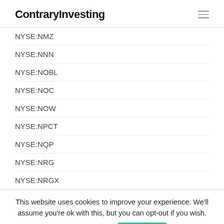ContraryInvesting
NYSE:NMZ
NYSE:NNN
NYSE:NOBL
NYSE:NOC
NYSE:NOW
NYSE:NPCT
NYSE:NQP
NYSE:NRG
NYSE:NRGX
This website uses cookies to improve your experience. We'll assume you're ok with this, but you can opt-out if you wish. Cookie settings ACCEPT